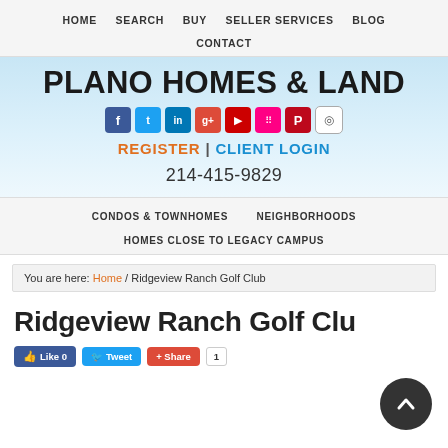HOME  SEARCH  BUY  SELLER SERVICES  BLOG  CONTACT
PLANO HOMES & LAND
[Figure (infographic): Social media icon buttons: Facebook, Twitter, LinkedIn, Google+, YouTube, Flickr, Pinterest, Instagram]
REGISTER | CLIENT LOGIN
214-415-9829
CONDOS & TOWNHOMES  NEIGHBORHOODS  HOMES CLOSE TO LEGACY CAMPUS
You are here: Home / Ridgeview Ranch Golf Club
Ridgeview Ranch Golf Club
[Figure (infographic): Social share buttons: Like 0, Tweet, Share, count 1]